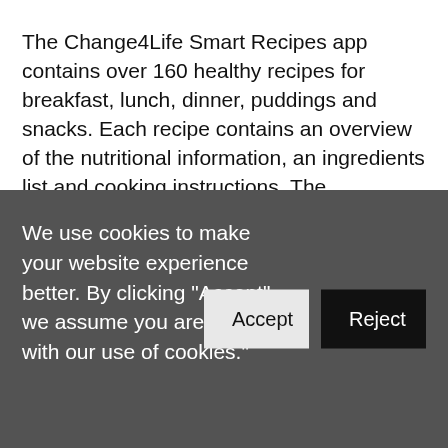The Change4Life Smart Recipes app contains over 160 healthy recipes for breakfast, lunch, dinner, puddings and snacks. Each recipe contains an overview of the nutritional information, an ingredients list and cooking instructions. The
We use cookies to make your website experience better. By clicking "Accept" we assume you are OK with our use of cookies."